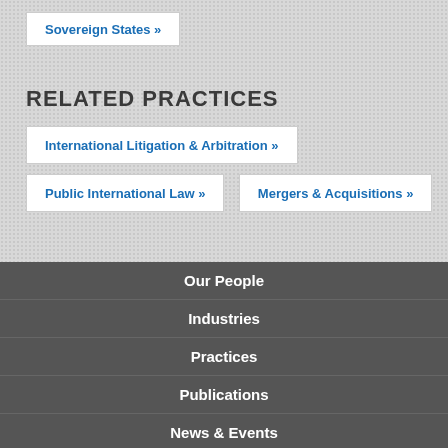Sovereign States »
RELATED PRACTICES
International Litigation & Arbitration »
Public International Law »
Mergers & Acquisitions »
Our People
Industries
Practices
Publications
News & Events
Blogs